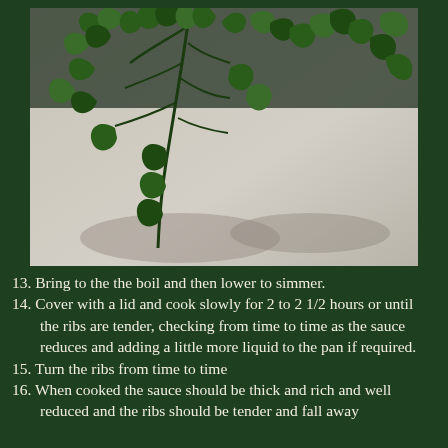[Figure (photo): Close-up photo of fresh flat-leaf parsley with dark green leaves on a light background]
13. Bring to the the boil and then lower to simmer.
14. Cover with a lid and cook slowly for 2 to 2 1/2 hours or until the ribs are tender, checking from time to time as the sauce reduces and adding a little more liquid to the pan if required.
15. Turn the ribs from time to time
16. When cooked the sauce should be thick and rich and well reduced and the ribs should be tender and fall away